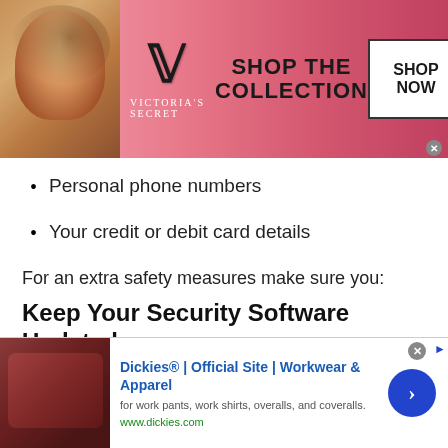[Figure (photo): Victoria's Secret advertisement banner with model photo on pink background, showing 'SHOP THE COLLECTION' and 'SHOP NOW' button]
Personal phone numbers
Your credit or debit card details
For an extra safety measures make sure you:
Keep Your Security Software Updated
Whatever you are using, you need a strong defense installed on your device to fight viruses and ensure your personal data stored on a certain device stays safe and protected. Hence, you must make sure your software or
[Figure (photo): Dickies advertisement banner showing workwear products with text 'Dickies® | Official Site | Workwear & Apparel' and website www.dickies.com]